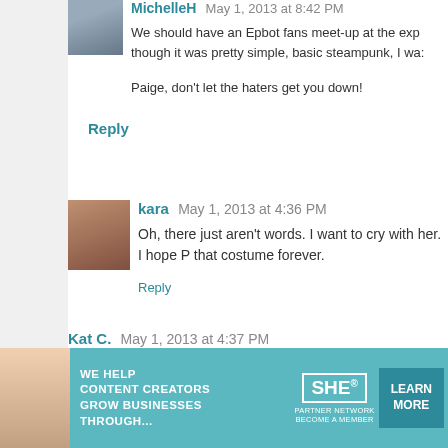MichelleH  May 1, 2013 at 8:42 PM
We should have an Epbot fans meet-up at the exp though it was pretty simple, basic steampunk, I wa...
Paige, don't let the haters get you down!
Reply
kara  May 1, 2013 at 4:36 PM
Oh, there just aren't words. I want to cry with her. I hope P that costume forever.
Reply
Kat C.  May 1, 2013 at 4:37 PM
I can't find a way to comment on ANY of her posts to link post, I would like to know that she will actually see it, and se
Reply
truebluemeandyou  May 1, 2013 at 4:41 PM
[Figure (photo): Advertisement banner for SHE Partner Network: 'We help content creators grow businesses through...' with a Learn More button]